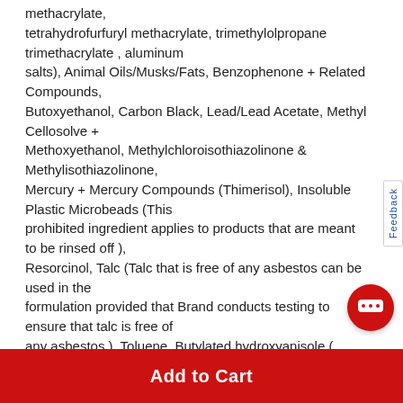methacrylate, tetrahydrofurfuryl methacrylate, trimethylolpropane trimethacrylate , aluminum salts), Animal Oils/Musks/Fats, Benzophenone + Related Compounds, Butoxyethanol, Carbon Black, Lead/Lead Acetate, Methyl Cellosolve + Methoxyethanol, Methylchloroisothiazolinone & Methylisothiazolinone, Mercury + Mercury Compounds (Thimerisol), Insoluble Plastic Microbeads (This prohibited ingredient applies to products that are meant to be rinsed off ), Resorcinol, Talc (Talc that is free of any asbestos can be used in the formulation provided that Brand conducts testing to ensure that talc is free of any asbestos.), Toluene, Butylated hydroxyanisole ( Butylated hydroxytoluene (BHT) that is 0.1% or more of total
Add to Cart